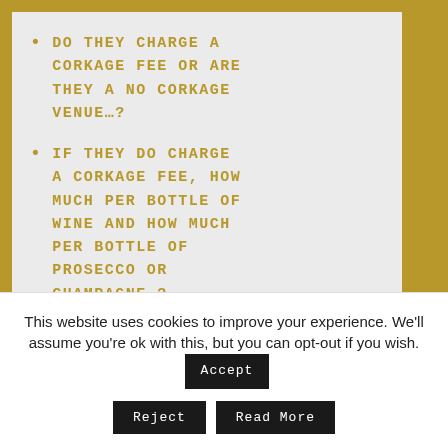DO THEY CHARGE A CORKAGE FEE OR ARE THEY A NO CORKAGE VENUE…?
IF THEY DO CHARGE A CORKAGE FEE, HOW MUCH PER BOTTLE OF WINE AND HOW MUCH PER BOTTLE OF PROSECCO OR CHAMPAGNE…?
MAKE AN ENQUIRY
This website uses cookies to improve your experience. We'll assume you're ok with this, but you can opt-out if you wish.
Accept
Reject
Read More